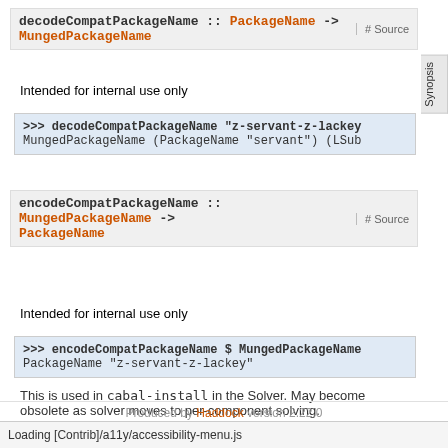decodeCompatPackageName :: PackageName -> MungedPackageName  # Source
Intended for internal use only
>>> decodeCompatPackageName "z-servant-z-lackey
MungedPackageName (PackageName "servant") (LSub
encodeCompatPackageName :: MungedPackageName -> PackageName  # Source
Intended for internal use only
>>> encodeCompatPackageName $ MungedPackageName
PackageName "z-servant-z-lackey"
This is used in cabal-install in the Solver. May become obsolete as solver moves to per-component solving.
Produced by Haddock version 2.22.0
Loading [Contrib]/a11y/accessibility-menu.js